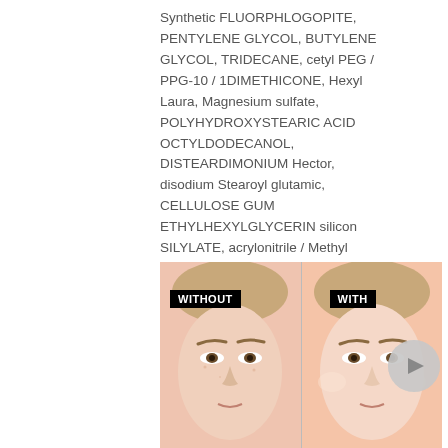Synthetic FLUORPHLOGOPITE, PENTYLENE GLYCOL, BUTYLENE GLYCOL, TRIDECANE, cetyl PEG / PPG-10 / 1DIMETHICONE, Hexyl Laura, Magnesium sulfate, POLYHYDROXYSTEARIC ACID OCTYLDODECANOL, DISTEARDIMONIUM Hector, disodium Stearoyl glutamic, CELLULOSE GUM ETHYLHEXYLGLYCERIN silicon SILYLATE, acrylonitrile / Methyl methacrylate / VINYLIDENE CHLORIDECOPOLYMER, PARFUM / FRAGRANCE, TRIHYDROXYSTEARIN, ALUMINUM HYDROXIDE, ACETYLATEDGLYCOL stearate, isobutane, Hexyl Cinnamal, BENZYL salicylate, linalool, ALPHA-Isomethyl ionone, Benzyl alcohol, TOCOPHEROL, CITRONELLOL, HELIANTHUS SEEDOIL / SUNFLOWER SEED OIL, PENTAERYTHRITYL TETRA-DI-T-BUTYL HYDROXYHYDROCINNAMATE, MAY CONTAIN CI77891 / TITANIUM DIOXIDE, CI77491, CI77491, CI77491, CI77491, CI77491, CI77491
[Figure (photo): Before and after comparison photo showing a woman's face. Left half labeled 'WITHOUT' shows skin without product. Right half labeled 'WITH' shows skin with product applied, on a peach/salmon background.]